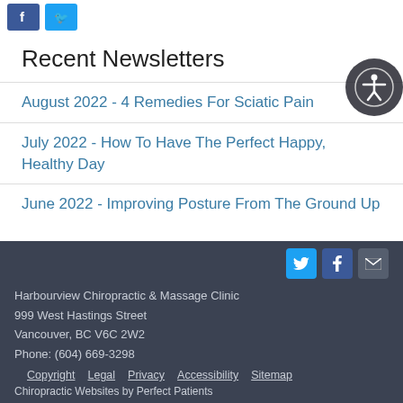[Figure (logo): Facebook and Twitter social media icon buttons at top]
Recent Newsletters
August 2022 - 4 Remedies For Sciatic Pain
July 2022 - How To Have The Perfect Happy, Healthy Day
June 2022 - Improving Posture From The Ground Up
[Figure (illustration): Accessibility icon button - circular person with outstretched arms]
Harbourview Chiropractic & Massage Clinic
999 West Hastings Street
Vancouver, BC V6C 2W2
Phone: (604) 669-3298
Copyright  Legal  Privacy  Accessibility  Sitemap
Chiropractic Websites by Perfect Patients